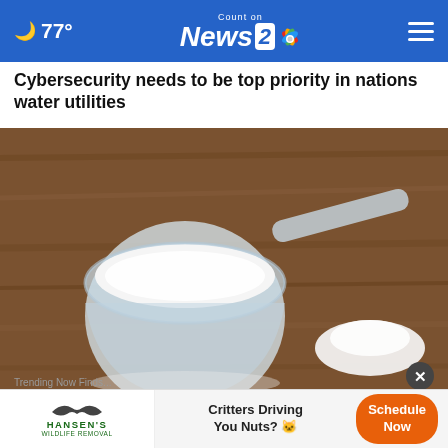77° Count on News 2 NBC
Cybersecurity needs to be top priority in nations water utilities
[Figure (photo): A plastic measuring scoop filled with white powder on a wooden surface, with a small pile of white powder next to it]
A Te... Wei...
Trending Now Finds...
[Figure (infographic): Advertisement banner: Hansen's Wildlife Removal — Critters Driving You Nuts? Schedule Now]